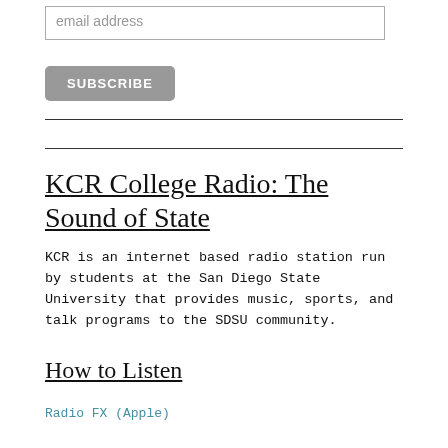email address
SUBSCRIBE
KCR College Radio: The Sound of State
KCR is an internet based radio station run by students at the San Diego State University that provides music, sports, and talk programs to the SDSU community.
How to Listen
Radio FX (Apple)